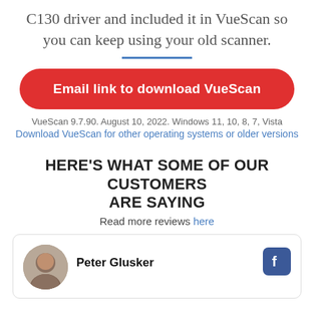C130 driver and included it in VueScan so you can keep using your old scanner.
Email link to download VueScan
VueScan 9.7.90. August 10, 2022. Windows 11, 10, 8, 7, Vista
Download VueScan for other operating systems or older versions
HERE'S WHAT SOME OF OUR CUSTOMERS ARE SAYING
Read more reviews here
Peter Glusker